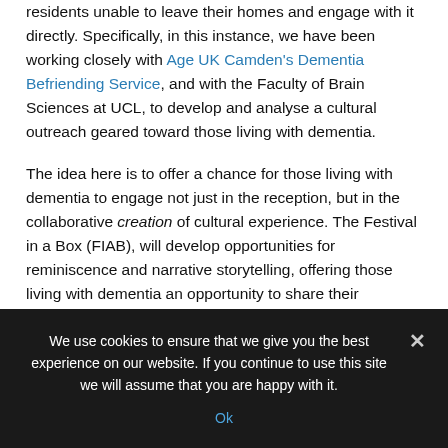residents unable to leave their homes and engage with it directly. Specifically, in this instance, we have been working closely with Age UK Camden's Dementia Befriending Service, and with the Faculty of Brain Sciences at UCL, to develop and analyse a cultural outreach geared toward those living with dementia.
The idea here is to offer a chance for those living with dementia to engage not just in the reception, but in the collaborative creation of cultural experience. The Festival in a Box (FIAB), will develop opportunities for reminiscence and narrative storytelling, offering those living with dementia an opportunity to share their personal narratives, and to provide insight into Bloomsbury and other related stories...
These FIAB boxes will become miniature archives of engagement, tiny museums gathering rich and nuanced...
We use cookies to ensure that we give you the best experience on our website. If you continue to use this site we will assume that you are happy with it.